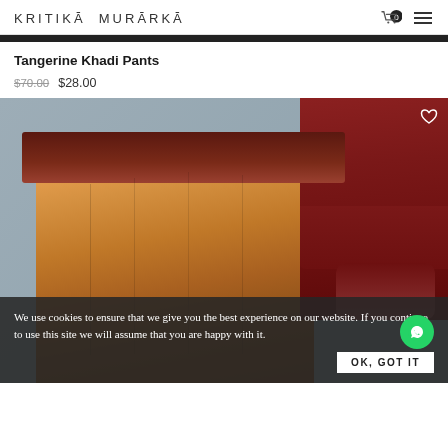KRITIKĀ MURĀRKĀ
Tangerine Khadi Pants
$70.00  $28.00
[Figure (photo): Product photo of tangerine/orange khadi pants with pleated fabric, with a maroon jacket visible on the right side, against a gray background.]
We use cookies to ensure that we give you the best experience on our website. If you continue to use this site we will assume that you are happy with it.